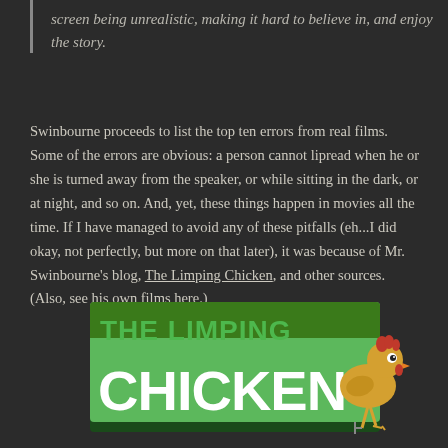screen being unrealistic, making it hard to believe in, and enjoy the story.
Swinbourne proceeds to list the top ten errors from real films. Some of the errors are obvious: a person cannot lipread when he or she is turned away from the speaker, or while sitting in the dark, or at night, and so on. And, yet, these things happen in movies all the time. If I have managed to avoid any of these pitfalls (eh...I did okay, not perfectly, but more on that later), it was because of Mr. Swinbourne's blog, The Limping Chicken, and other sources. (Also, see his own films here.)
[Figure (logo): The Limping Chicken logo — green banner with bold white text 'THE LIMPING CHICKEN' and a cartoon chicken on the right side]